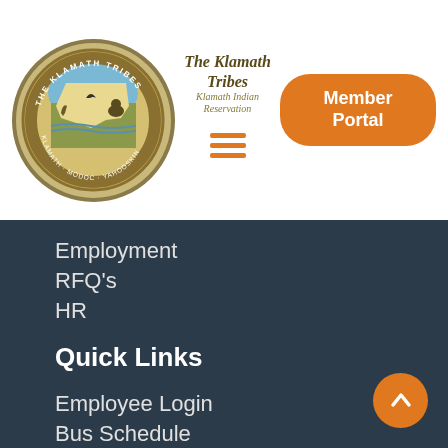[Figure (logo): The Klamath Tribes circular seal/logo with tribal imagery and text KLAMATH, MODOC, YAHOOSKIN around the border]
The Klamath Tribes
Klamath Indian Reservation
≡ (hamburger menu icon)
Member Portal
Employment
RFQ's
HR
Quick Links
Employee Login
Bus Schedule
News & Public Info
Contact Us